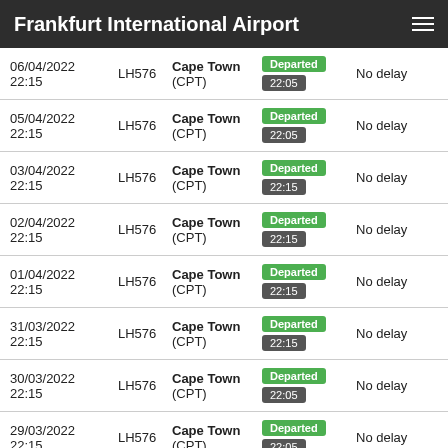Frankfurt International Airport
| Date/Time | Flight | Destination | Status | Delay |
| --- | --- | --- | --- | --- |
| 06/04/2022 22:15 | LH576 | Cape Town (CPT) | Departed 22:05 | No delay |
| 05/04/2022 22:15 | LH576 | Cape Town (CPT) | Departed 22:05 | No delay |
| 03/04/2022 22:15 | LH576 | Cape Town (CPT) | Departed 22:15 | No delay |
| 02/04/2022 22:15 | LH576 | Cape Town (CPT) | Departed 22:15 | No delay |
| 01/04/2022 22:15 | LH576 | Cape Town (CPT) | Departed 22:15 | No delay |
| 31/03/2022 22:15 | LH576 | Cape Town (CPT) | Departed 22:15 | No delay |
| 30/03/2022 22:15 | LH576 | Cape Town (CPT) | Departed 22:05 | No delay |
| 29/03/2022 22:15 | LH576 | Cape Town (CPT) | Departed 22:05 | No delay |